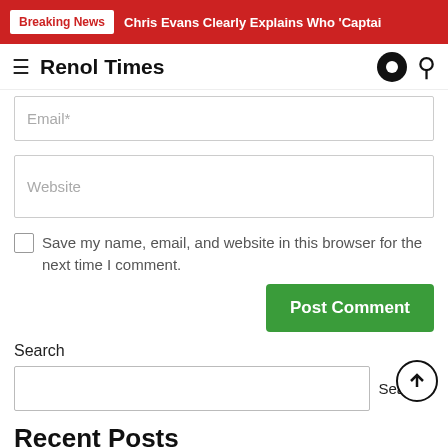Breaking News  Chris Evans Clearly Explains Who 'Captai
Renol Times
Email*
Website
Save my name, email, and website in this browser for the next time I comment.
Post Comment
Search
Search
Recent Posts